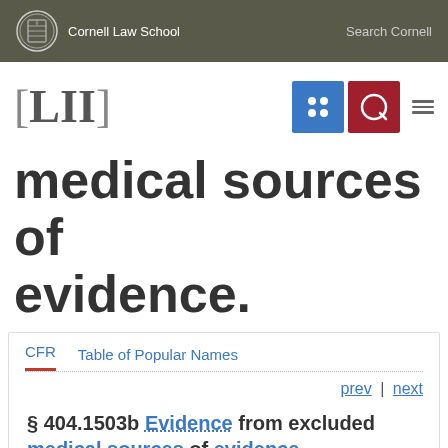Cornell Law School | Search Cornell
[Figure (logo): LII Legal Information Institute logo with navigation icons]
medical sources of evidence.
CFR | Table of Popular Names
prev | next
§ 404.1503b Evidence from excluded medical sources of evidence.
(a) General. We will not consider evidence from the following medical sources excluded